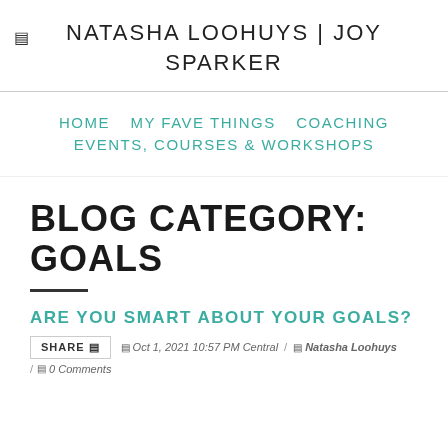NATASHA LOOHUYS | JOY SPARKER
HOME   MY FAVE THINGS   COACHING   EVENTS, COURSES & WORKSHOPS
BLOG CATEGORY: GOALS
ARE YOU SMART ABOUT YOUR GOALS?
SHARE  ☰  Oct 1, 2021 10:57 PM Central / ☰ Natasha Loohuys / ☰ 0 Comments